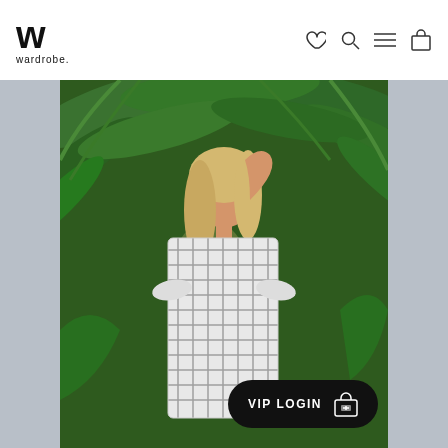wardrobe.
[Figure (photo): A blonde woman wearing a black and white gingham/checkered dress with ruffled sleeves, posing outdoors in front of lush tropical green palm trees and foliage. She has her right arm raised near her head. Below the image is a 'VIP LOGIN' button with a gift/shopping icon.]